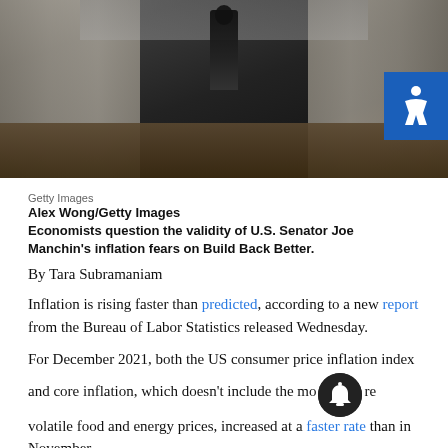[Figure (photo): A person walking down a hallway corridor, dark background, shot from a distance]
Getty Images
Alex Wong/Getty Images
Economists question the validity of U.S. Senator Joe Manchin's inflation fears on Build Back Better.
By Tara Subramaniam
Inflation is rising faster than predicted, according to a new report from the Bureau of Labor Statistics released Wednesday.
For December 2021, both the US consumer price inflation index and core inflation, which doesn't include the more volatile food and energy prices, increased at a faster rate than in November.